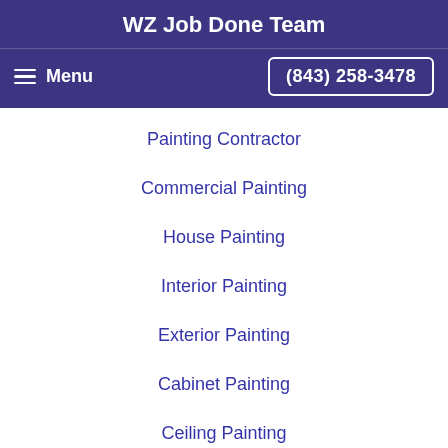WZ Job Done Team
Menu   (843) 258-3478
Painting Contractor
Commercial Painting
House Painting
Interior Painting
Exterior Painting
Cabinet Painting
Ceiling Painting
Drywall Repair
Wallpaper Removal
Pressure Washing